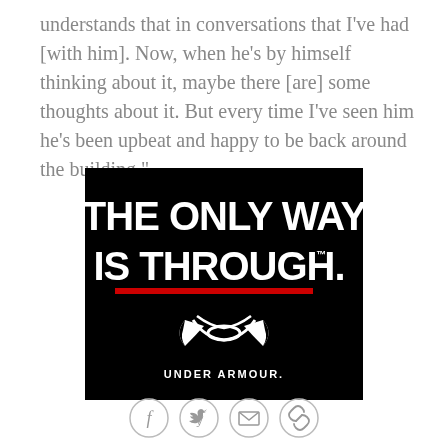understands that in conversations that I've had [with him]. Now, when he's by himself thinking about it, maybe there [are] some thoughts about it. But every time I've seen him he's been upbeat and happy to be back around the building."
[Figure (logo): Under Armour advertisement on black background with white bold text 'THE ONLY WAY IS THROUGH.' with a red underline bar, and the Under Armour logo and wordmark below.]
[Figure (infographic): Social sharing icons: Facebook, Twitter, Email, and Link/Copy icons in circular outlines]